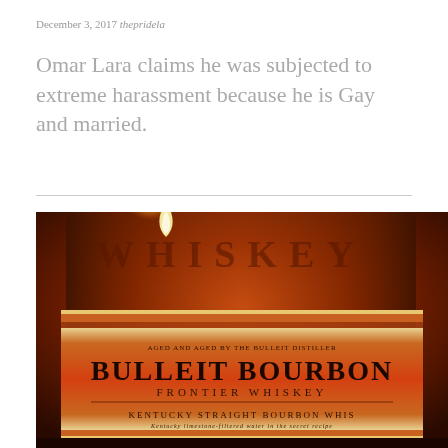December 3, 2017 thepridela
Omar Lara claims he was subjected to extreme harassment because he is Gay and married.
[Figure (photo): Close-up photograph of a Bulleit Bourbon Frontier Whiskey bottle label showing the text 'BULLEIT BOURBON FRONTIER WHISKEY' and 'KENTUCKY STRAIGHT BOURBON WHISKEY' against a dark amber/orange background with warm lighting.]